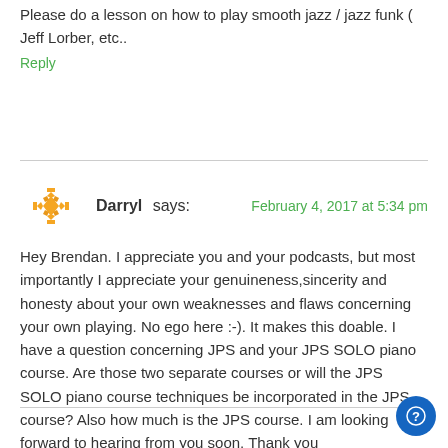Please do a lesson on how to play smooth jazz / jazz funk ( Jeff Lorber, etc..
Reply
Darryl says:  February 4, 2017 at 5:34 pm
Hey Brendan. I appreciate you and your podcasts, but most importantly I appreciate your genuineness,sincerity and honesty about your own weaknesses and flaws concerning your own playing. No ego here :-). It makes this doable. I have a question concerning JPS and your JPS SOLO piano course. Are those two separate courses or will the JPS SOLO piano course techniques be incorporated in the JPS course? Also how much is the JPS course. I am looking forward to hearing from you soon. Thank you
Reply